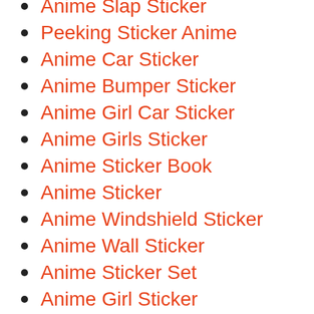Anime Slap Sticker
Peeking Sticker Anime
Anime Car Sticker
Anime Bumper Sticker
Anime Girl Car Sticker
Anime Girls Sticker
Anime Sticker Book
Anime Sticker
Anime Windshield Sticker
Anime Wall Sticker
Anime Sticker Set
Anime Girl Sticker
Anime Sticker Pack
Anime Vinyl Decal Sticker